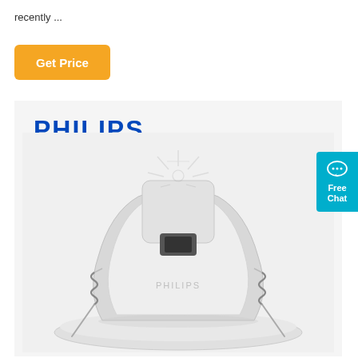recently ...
Get Price
[Figure (photo): Philips branded LED recessed downlight product shown from the back, white casing with spring clips on both sides, on white background]
Free Chat